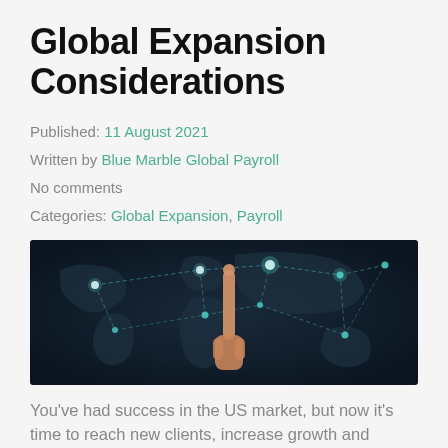Global Expansion Considerations
Published: 11 August 2021
Written by Blue Marble Global Payroll
No comments
Categories: Global Expansion, Payroll
[Figure (photo): A hand pointing upward at a dark world map with glowing network nodes and dashed connection lines, representing global connectivity.]
You've had success in the US market, but now it's time to reach new clients, increase growth and profits, and diversify. What are some key